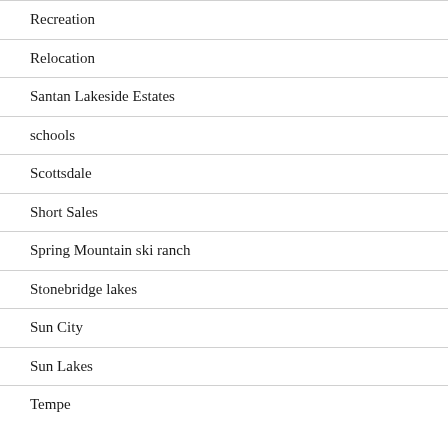Recreation
Relocation
Santan Lakeside Estates
schools
Scottsdale
Short Sales
Spring Mountain ski ranch
Stonebridge lakes
Sun City
Sun Lakes
Tempe